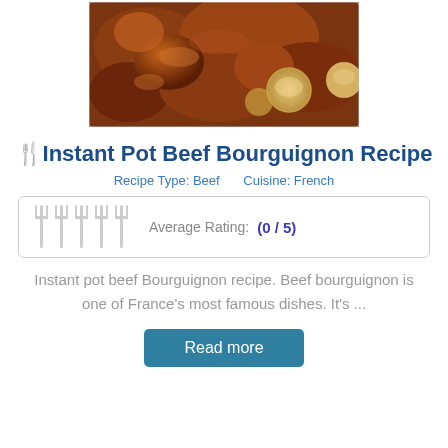[Figure (photo): Close-up photo of beef bourguignon with pearl onions in rich brown gravy sauce]
🍴Instant Pot Beef Bourguignon Recipe
Recipe Type: Beef    Cuisine: French
Average Rating: (0 / 5)
Instant pot beef Bourguignon recipe. Beef bourguignon is one of France's most famous dishes. It's ...
Read more